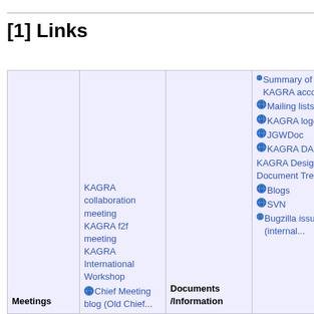[1] Links
|  |  |  |  |
| --- | --- | --- | --- |
| Meetings | KAGRA collaboration meeting
KAGRA f2f meeting
KAGRA International Workshop
● Chief Meeting blog (Old Chief... | Documents /Information | ● Summary of various KAGRA accounts
● Mailing lists
● KAGRA log (klog)
● JGWDoc
● KAGRA DAC wiki
KAGRA Design Document Tree
● Blogs
● SVN
● Bugzilla issue track (internal... |